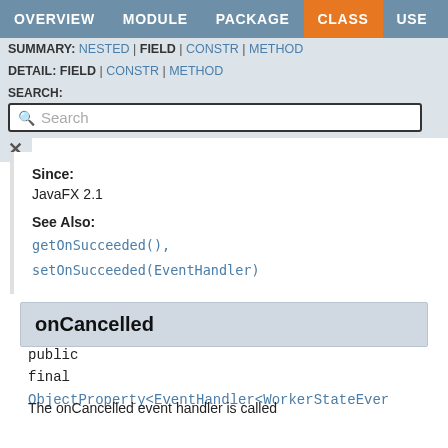OVERVIEW | MODULE | PACKAGE | CLASS | USE | TREE
SUMMARY: NESTED | FIELD | CONSTR | METHOD
DETAIL: FIELD | CONSTR | METHOD
SEARCH:
Since:
JavaFX 2.1
See Also:
getOnSucceeded(),
setOnSucceeded(EventHandler)
onCancelled
public
final ObjectProperty<EventHandler<WorkerStateEver
The onCancelled event handler is called